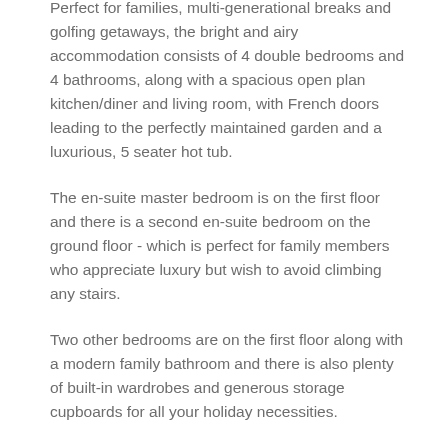Perfect for families, multi-generational breaks and golfing getaways, the bright and airy accommodation consists of 4 double bedrooms and 4 bathrooms, along with a spacious open plan kitchen/diner and living room, with French doors leading to the perfectly maintained garden and a luxurious, 5 seater hot tub.
The en-suite master bedroom is on the first floor and there is a second en-suite bedroom on the ground floor - which is perfect for family members who appreciate luxury but wish to avoid climbing any stairs.
Two other bedrooms are on the first floor along with a modern family bathroom and there is also plenty of built-in wardrobes and generous storage cupboards for all your holiday necessities.
Whether you decide to take advantage of the luxury kitchen for cooking up a treat or want to dine out, the multi-award-winning Campaign Room Bistro at Carberry Tower is only a short walk away through the Estate. And during your stay, you may even want to book an indulgent Afternoon Tea in the Mansion House and live like a Lord and Lady for the day.
You are also very welcome to enjoy the Boar Bar in the old gun